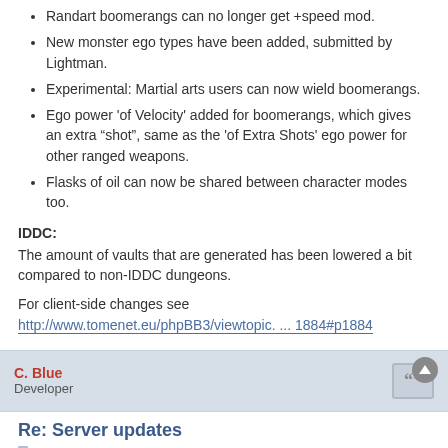Randart boomerangs can no longer get +speed mod.
New monster ego types have been added, submitted by Lightman.
Experimental: Martial arts users can now wield boomerangs.
Ego power 'of Velocity' added for boomerangs, which gives an extra "shot", same as the 'of Extra Shots' ego power for other ranged weapons.
Flasks of oil can now be shared between character modes too.
IDDC:
The amount of vaults that are generated has been lowered a bit compared to non-IDDC dungeons.
For client-side changes see
http://www.tomenet.eu/phpBB3/viewtopic. ... 1884#p1884
C. Blue
Developer
Re: Server updates
Sun Dec 21, 2014 1:24 pm
4.5.8a has been released, server-side changes are:
Newly added monster ego types tweaked a bit.
Using /note commands to players online will apply private-message beep and ignore list settings properly.